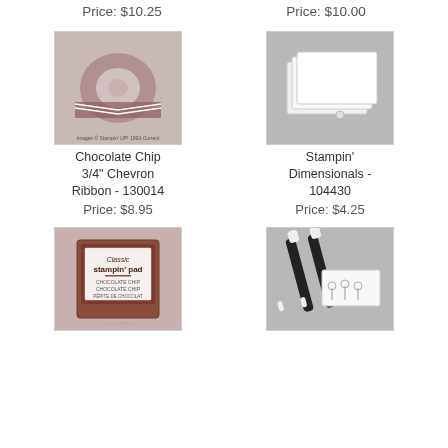Price: $10.25
Price: $10.00
[Figure (photo): Chocolate Chip 3/4 inch Chevron Ribbon spool, brown/white pattern]
[Figure (photo): Stampin Dimensionals adhesive foam squares, white]
Chocolate Chip 3/4" Chevron Ribbon - 130014
Stampin' Dimensionals - 104430
Price: $8.95
Price: $4.25
[Figure (photo): Classic Stampin Pad in Chocolate Chip color]
[Figure (photo): Stampin Write markers/blender pens with stamped image]